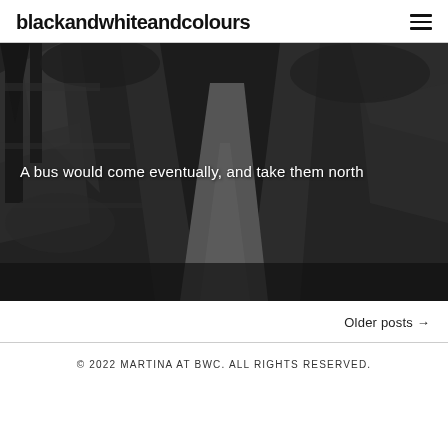blackandwhiteandcolours
[Figure (photo): Black and white photograph of a narrow forest path or sunken lane flanked by moss-covered rocky walls and trees, with the path receding into the distance. White text overlay reads: A bus would come eventually, and take them north]
Older posts →
© 2022 MARTINA AT BWC. ALL RIGHTS RESERVED.